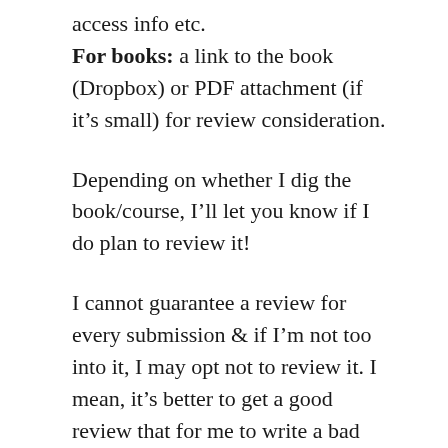access info etc.
For books: a link to the book (Dropbox) or PDF attachment (if it's small) for review consideration.
Depending on whether I dig the book/course, I'll let you know if I do plan to review it!
I cannot guarantee a review for every submission & if I'm not too into it, I may opt not to review it. I mean, it's better to get a good review that for me to write a bad review just because it's not a match for the kind of stuff I dig right? :p
NOTE: All reviews reflect my honest personal opinion so be aware that I will point out both cool D... and C... that I see in the work. You dig? 🙂